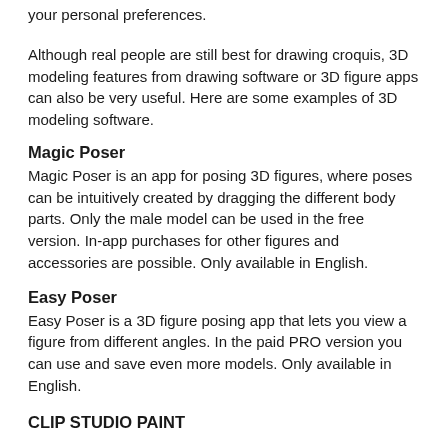your personal preferences.
Although real people are still best for drawing croquis, 3D modeling features from drawing software or 3D figure apps can also be very useful. Here are some examples of 3D modeling software.
Magic Poser
Magic Poser is an app for posing 3D figures, where poses can be intuitively created by dragging the different body parts. Only the male model can be used in the free version. In-app purchases for other figures and accessories are possible. Only available in English.
Easy Poser
Easy Poser is a 3D figure posing app that lets you view a figure from different angles. In the paid PRO version you can use and save even more models. Only available in English.
CLIP STUDIO PAINT